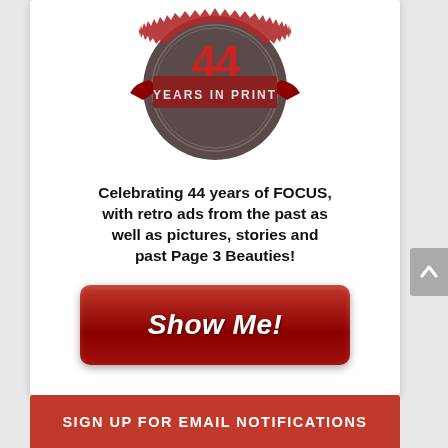[Figure (logo): Anniversary badge/seal showing '44 YEARS IN PRINT' with dark brown/grey circular badge and red ribbon elements, number 44 in red at top]
Celebrating 44 years of FOCUS, with retro ads from the past as well as pictures, stories and past Page 3 Beauties!
[Figure (other): Red rounded rectangle button with bold white italic text reading 'Show Me!']
SIGN UP FOR EMAIL NOTIFICATIONS